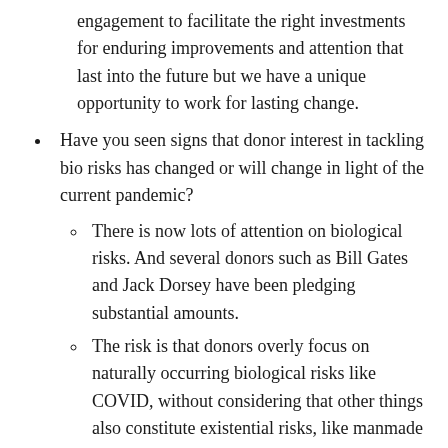engagement to facilitate the right investments for enduring improvements and attention that last into the future but we have a unique opportunity to work for lasting change.
Have you seen signs that donor interest in tackling bio risks has changed or will change in light of the current pandemic?
There is now lots of attention on biological risks. And several donors such as Bill Gates and Jack Dorsey have been pledging substantial amounts.
The risk is that donors overly focus on naturally occurring biological risks like COVID, without considering that other things also constitute existential risks, like manmade pathogens or nuclear war that also